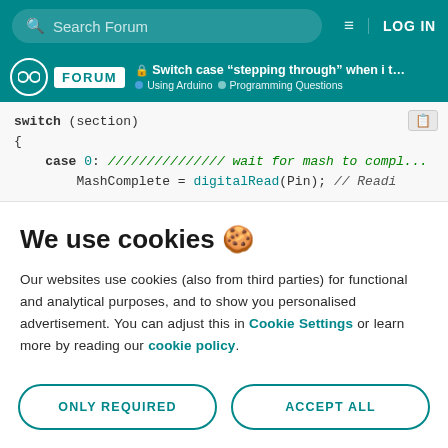Search Forum | LOG IN
Arduino FORUM — Switch case "stepping through" when i thi... | Using Arduino > Programming Questions
switch (section)
{
    case 0: /////////////// wait for mash to compl...
        MashComplete = digitalRead(Pin); // Readi...
We use cookies 🍪
Our websites use cookies (also from third parties) for functional and analytical purposes, and to show you personalised advertisement. You can adjust this in Cookie Settings or learn more by reading our cookie policy.
ONLY REQUIRED
ACCEPT ALL